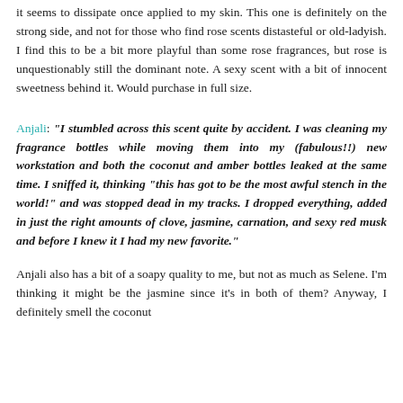it seems to dissipate once applied to my skin. This one is definitely on the strong side, and not for those who find rose scents distasteful or old-ladyish. I find this to be a bit more playful than some rose fragrances, but rose is unquestionably still the dominant note. A sexy scent with a bit of innocent sweetness behind it. Would purchase in full size.
Anjali: "I stumbled across this scent quite by accident. I was cleaning my fragrance bottles while moving them into my (fabulous!!) new workstation and both the coconut and amber bottles leaked at the same time. I sniffed it, thinking "this has got to be the most awful stench in the world!" and was stopped dead in my tracks. I dropped everything, added in just the right amounts of clove, jasmine, carnation, and sexy red musk and before I knew it I had my new favorite."
Anjali also has a bit of a soapy quality to me, but not as much as Selene. I'm thinking it might be the jasmine since it's in both of them? Anyway, I definitely smell the coconut